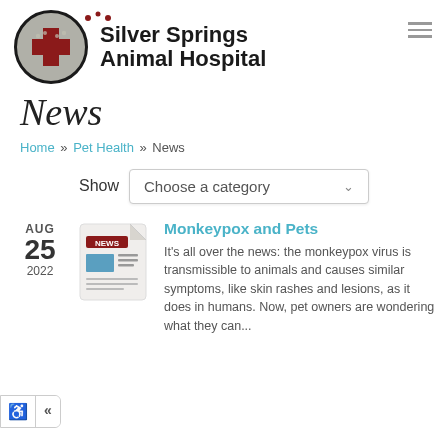[Figure (logo): Silver Springs Animal Hospital logo: circular badge with dark border, gray background, red plus/cross symbol, flanked by red paw print decorations, with hospital name text to the right.]
News
Home » Pet Health » News
Show  Choose a category
AUG 25 2022
[Figure (illustration): Newspaper thumbnail icon showing a news document with text columns and a blue rectangle graphic.]
Monkeypox and Pets
It's all over the news: the monkeypox virus is transmissible to animals and causes similar symptoms, like skin rashes and lesions, as it does in humans. Now, pet owners are wondering what they can...